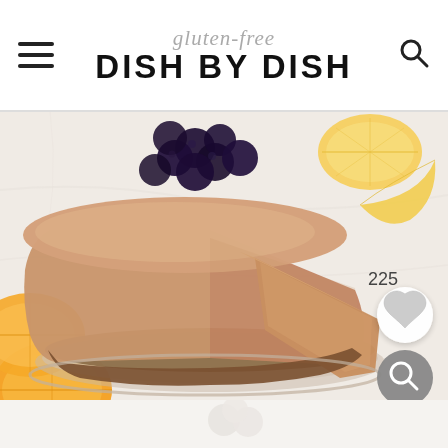gluten-free DISH BY DISH
[Figure (photo): A cheesecake with a slice cut out, displayed on a plate, garnished with blueberries and lemon slices on a white marble surface. Two interactive UI buttons visible: a heart (save) button with count 225, and a search magnifier button.]
225